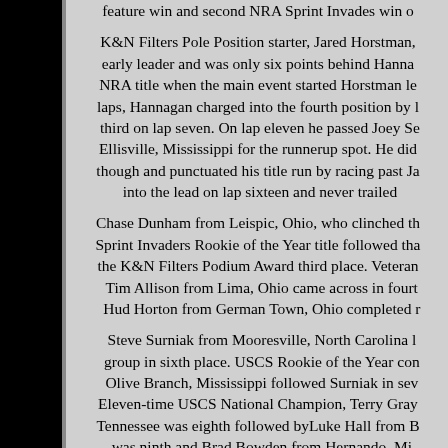feature win and second NRA Sprint Invades win o...
K&N Filters Pole Position starter, Jared Horstman, early leader and was only six points behind Hanna... NRA title when the main event started Horstman le... laps, Hannagan charged into the fourth position by ... third on lap seven. On lap eleven he passed Joey Se... Ellisville, Mississippi for the runnerup spot. He did... though and punctuated his title run by racing past Ja... into the lead on lap sixteen and never trailed...
Chase Dunham from Leispic, Ohio, who clinched th... Sprint Invaders Rookie of the Year title followed tha... the K&N Filters Podium Award third place. Veteran... Tim Allison from Lima, Ohio came across in fourt... Hud Horton from German Town, Ohio completed ...
Steve Surniak from Mooresville, North Carolina l... group in sixth place. USCS Rookie of the Year con... Olive Branch, Mississippi followed Surniak in sev... Eleven-time USCS National Champion, Terry Gray... Tennessee was eighth followed byLuke Hall from B... was ninth and Brad Bowden from Hernando, Mi... Two-time USCS National Champion, Morgan Tu... Cordova, Tennessee won the USCS Hoosier Speed...